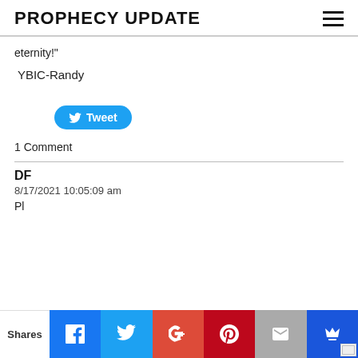PROPHECY UPDATE
eternity!"
YBIC-Randy
[Figure (other): Tweet button with Twitter bird icon]
1 Comment
DF
8/17/2021 10:05:09 am
[Figure (infographic): Social share bar at the bottom with Shares label, Facebook, Twitter, Google+, Pinterest, Email, and Crown/King Sumo buttons]